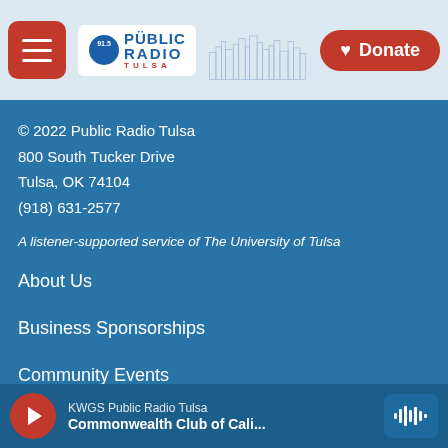Public Radio Tulsa — Navigation header with hamburger menu, logo, and Donate button
© 2022 Public Radio Tulsa
800 South Tucker Drive
Tulsa, OK 74104
(918) 631-2577
A listener-supported service of The University of Tulsa
About Us
Business Sponsorships
Community Events
Contact Us
DMCA Information
KWGS Public Radio Tulsa — Commonwealth Club of Cali...